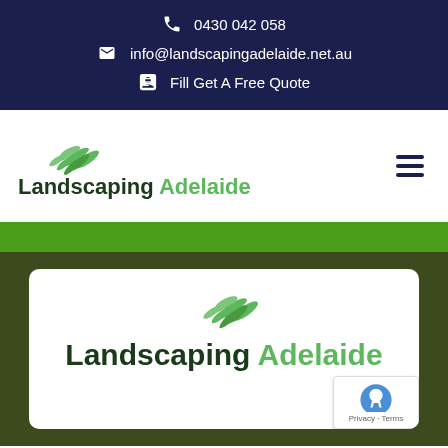0430 042 058
info@landscapingadelaide.net.au
Fill Get A Free Quote
[Figure (logo): Landscaping Adelaide logo with green leaf icon and text 'Landscaping Adelaide' in dark green and green]
[Figure (logo): Landscaping Adelaide logo repeated in white card with green leaf icon and text 'Landscaping Adelaide' in dark green and green]